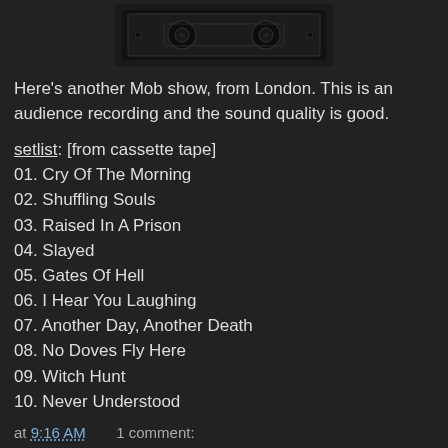[Figure (photo): Dark image of a cassette tape against a black/dark background]
Here's another Mob show, from London. This is an audience recording and the sound quality is good.
setlist: [from cassette tape]
01. Cry Of The Morning
02. Shuffling Souls
03. Raised In A Prison
04. Slayed
05. Gates Of Hell
06. I Hear You Laughing
07. Another Day, Another Death
08. No Doves Fly Here
09. Witch Hunt
10. Never Understood
at 9:16 AM   1 comment:
Mob/Anthrax - Red Lion, Gravesend 8-